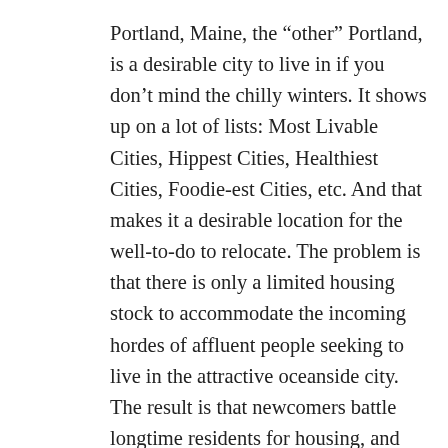Portland, Maine, the “other” Portland, is a desirable city to live in if you don’t mind the chilly winters. It shows up on a lot of lists: Most Livable Cities, Hippest Cities, Healthiest Cities, Foodie-est Cities, etc. And that makes it a desirable location for the well-to-do to relocate. The problem is that there is only a limited housing stock to accommodate the incoming hordes of affluent people seeking to live in the attractive oceanside city. The result is that newcomers battle longtime residents for housing, and housing costs go up. Among the largest 100 metropolitan areas, Portland, Maine had the second largest rise in rental rates in the U.S. Rents rose 17.4%, the median rent in Portland rising to $1582, more than much larger Philadelphia and Chicago. With many hundreds of new families relocating to the city every year, a housing shortage has worsened, and the rent increases have driven the